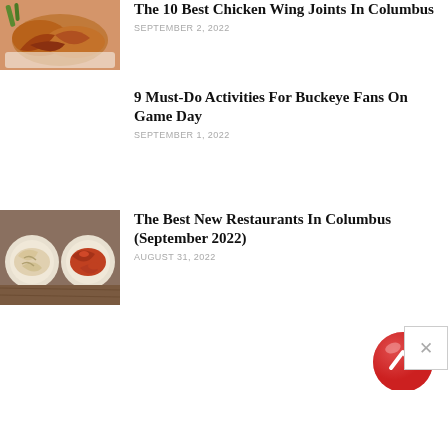[Figure (photo): Photo of fried chicken wings on a white surface with green garnish]
The 10 Best Chicken Wing Joints In Columbus
SEPTEMBER 2, 2022
9 Must-Do Activities For Buckeye Fans On Game Day
SEPTEMBER 1, 2022
[Figure (photo): Photo of two plates of food: pasta and saucy chicken wings]
The Best New Restaurants In Columbus (September 2022)
AUGUST 31, 2022
[Figure (illustration): Red tomato icon with upward chevron arrow, and a gray X close button]